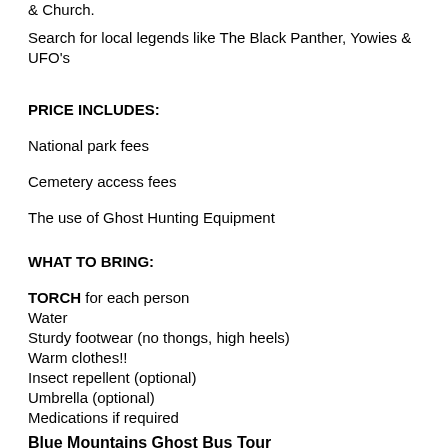& Church.
Search for local legends like The Black Panther, Yowies & UFO's
PRICE INCLUDES:
National park fees
Cemetery access fees
The use of Ghost Hunting Equipment
WHAT TO BRING:
TORCH for each person
Water
Sturdy footwear (no thongs, high heels)
Warm clothes!!
Insect repellent (optional)
Umbrella (optional)
Medications if required
Blue Mountains Ghost Bus Tour